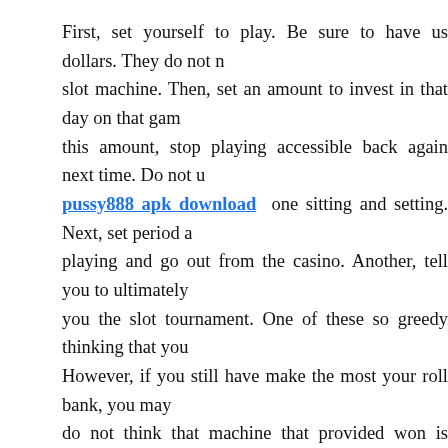First, set yourself to play. Be sure to have us dollars. They do not need slot machine. Then, set an amount to invest in that day on that game this amount, stop playing accessible back again next time. Do not u pussy888 apk download one sitting and setting. Next, set period a playing and go out from the casino. Another, tell you to ultimately you the slot tournament. One of these so greedy thinking that you However, if you still have make the most your roll bank, you may do not think that machine that provided won is lucky enough to yo No, it will just use up all money and you'll then lose a great deal m
Video slots are played just like reeled slots, as far as investing in m that you have more decisions various other regarding how many w in something to cook.
This can be a mental-health problem and the're a great many peop which it. There are no more or less risky online. Everything depen mental peculiarities. You may engage in sports betting, lottery, po the other games. Moreover, while many people prefer gambling i fond of online gambling and it requires players that online gambli the increase. Extremely reason is raise of Internet used in general